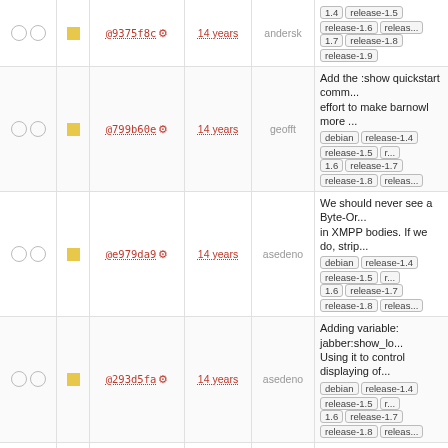| checks | icon | hash | age | author | message/tags |
| --- | --- | --- | --- | --- | --- |
| ○ ○ | □ | @9375f8c | 14 years | andersk | [continuation] release-1.5 release-1.6 ... 1.7 release-1.8 release-1.9 |
| ○ ○ | □ | @799b60e | 14 years | geofft | Add the :show quickstart comm... effort to make barnowl more ... debian release-1.4 release-1.5 ... 1.6 release-1.7 release-1.8 releas... |
| ○ ○ | □ | @e979da9 | 14 years | asedeno | We should never see a Byte-Or... in XMPP bodies. If we do, strip... debian release-1.4 release-1.5 ... 1.6 release-1.7 release-1.8 releas... |
| ○ ○ | □ | @293d5fa | 14 years | asedeno | Adding variable: jabber:show_lo... Using it to control displaying of... debian release-1.4 release-1.5 ... 1.6 release-1.7 release-1.8 releas... |
| ○ ○ | □ | @94b4ecb | 14 years | asedeno | Attempting to fix the reload-mo... jabber bug. debian release-1.4 1.5 release-1.6 release-1.7 releas... 1.8 release-1.9 |
| ○ ○ | □ | @0eb4036 | 14 years | asedeno | Squelch chat messages with no... e.g. typing notifications, etc. debian release-1.4 release-1.5 ... 1.6 release-1.7 release-1.8 releas... |
| ○ ○ | □ | @96134cb | 14 years | nelhage | Handle replies to unknown Jabl... messages more gracefully. debian release-1.4 release-1.5 ... 1.6 release-1.7 release-1.8 releas... |
| ○ ○ | □ | @680ada9 | 14 years | nelhage | Properly quote generate reply c... for Jabber debian release-1.4 n... 1.5 release-1.6 release-1.7 releas... 1.8 release-1.9 |
| ○ ○ | □ | @d5dcd7c | 14 years | nelhage | Use replycmd/replysendercmd ... rather than properties for Jabbe... |